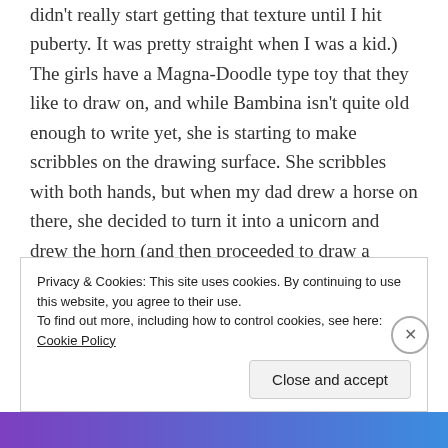didn't really start getting that texture until I hit puberty. It was pretty straight when I was a kid.) The girls have a Magna-Doodle type toy that they like to draw on, and while Bambina isn't quite old enough to write yet, she is starting to make scribbles on the drawing surface. She scribbles with both hands, but when my dad drew a horse on there, she decided to turn it into a unicorn and drew the horn (and then proceeded to draw a whole bunch more) with her left hand. If she does end up being left-handed, I think she'd be the first in our family.
Privacy & Cookies: This site uses cookies. By continuing to use this website, you agree to their use.
To find out more, including how to control cookies, see here: Cookie Policy
Close and accept